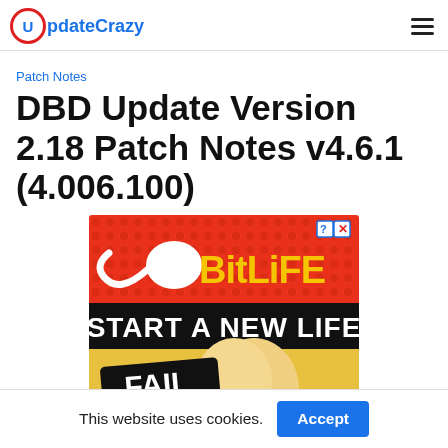UpdateCrazy
Patch Notes
DBD Update Version 2.18 Patch Notes v4.6.1 (4.006.100)
[Figure (illustration): BitLife game advertisement showing 'START A NEW LIFE' with FAIL text and animated character, on red dotted background]
This website uses cookies. Accept